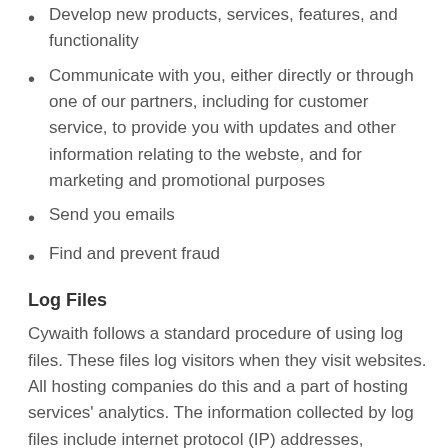Develop new products, services, features, and functionality
Communicate with you, either directly or through one of our partners, including for customer service, to provide you with updates and other information relating to the webste, and for marketing and promotional purposes
Send you emails
Find and prevent fraud
Log Files
Cywaith follows a standard procedure of using log files. These files log visitors when they visit websites. All hosting companies do this and a part of hosting services' analytics. The information collected by log files include internet protocol (IP) addresses, browser type, Internet Service Provider (ISP), date and time stamp, referring/exit pages, and possibly the